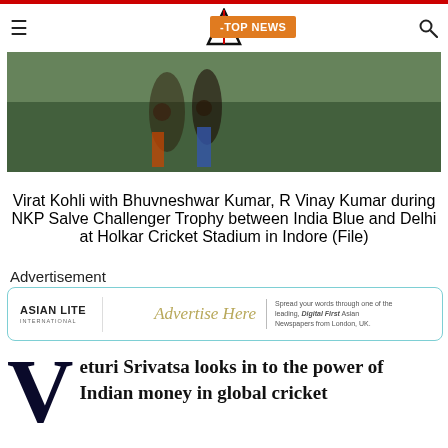Asian Lite — TOP NEWS
[Figure (photo): Cricket players on field — Virat Kohli with Bhuvneshwar Kumar, R Vinay Kumar during NKP Salve Challenger Trophy]
Virat Kohli with Bhuvneshwar Kumar, R Vinay Kumar during NKP Salve Challenger Trophy between India Blue and Delhi at Holkar Cricket Stadium in Indore (File)
Advertisement
[Figure (illustration): Asian Lite advertisement banner — Advertise Here. Spread your words through one of the leading, Digital First Asian Newspapers from London, UK.]
Veturi Srivatsa looks in to the power of Indian money in global cricket